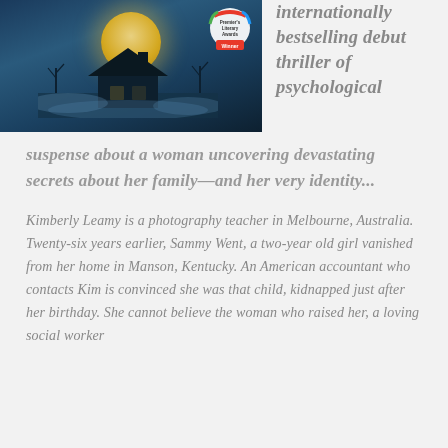[Figure (photo): Book cover showing a dark, moody house silhouette under a large moon in a misty blue night scene, with a Premier's Literary Awards Winner badge in the top right corner]
internationally bestselling debut thriller of psychological suspense about a woman uncovering devastating secrets about her family—and her very identity...
Kimberly Leamy is a photography teacher in Melbourne, Australia. Twenty-six years earlier, Sammy Went, a two-year old girl vanished from her home in Manson, Kentucky. An American accountant who contacts Kim is convinced she was that child, kidnapped just after her birthday. She cannot believe the woman who raised her, a loving social worker